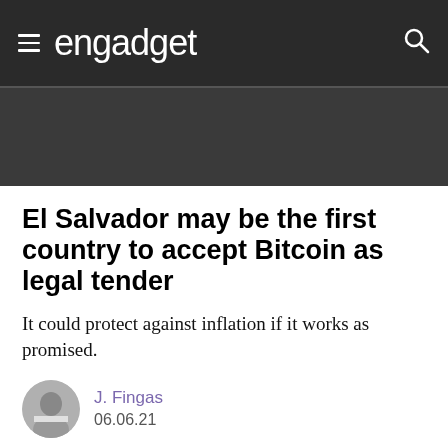engadget
[Figure (other): Dark gray advertisement banner area]
El Salvador may be the first country to accept Bitcoin as legal tender
It could protect against inflation if it works as promised.
J. Fingas
06.06.21
[Figure (photo): Dark photo at bottom of article, partially visible]